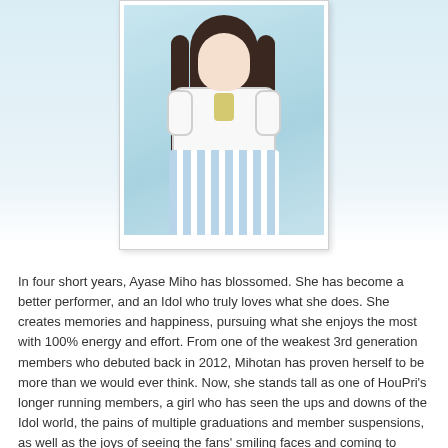[Figure (photo): A young Japanese idol wearing a white short-sleeve shirt with dark trim and a striped light blue dungaree/pinafore skirt, with a yellowish bow tie/necktie. She has long dark brown hair and is posed against a light blue background. The photo is displayed in a white polaroid-style frame.]
In four short years, Ayase Miho has blossomed. She has become a better performer, and an Idol who truly loves what she does. She creates memories and happiness, pursuing what she enjoys the most with 100% energy and effort. From one of the weakest 3rd generation members who debuted back in 2012, Mihotan has proven herself to be more than we would ever think. Now, she stands tall as one of HouPri's longer running members, a girl who has seen the ups and downs of the Idol world, the pains of multiple graduations and member suspensions, as well as the joys of seeing the fans' smiling faces and coming to know the members she stands beside today.